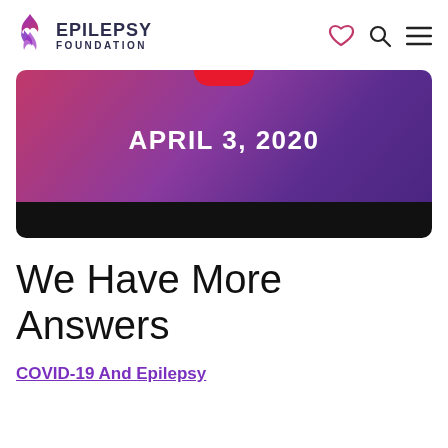EPILEPSY FOUNDATION
[Figure (screenshot): Hero banner with gradient background from pink-red to purple, showing date APRIL 3, 2020 in white bold text, with a red pill/button at the top center, and a black bar at the bottom]
We Have More Answers
COVID-19 And Epilepsy